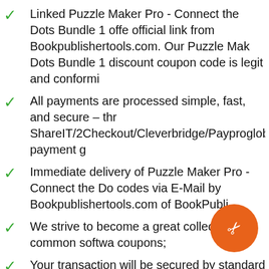Linked Puzzle Maker Pro - Connect the Dots Bundle 1 offer official link from Bookpublishertools.com. Our Puzzle Maker Dots Bundle 1 discount coupon code is legit and conformi
All payments are processed simple, fast, and secure – thr ShareIT/2Checkout/Cleverbridge/Payproglobal payment g
Immediate delivery of Puzzle Maker Pro - Connect the Do codes via E-Mail by Bookpublishertools.com of BookPubli
We strive to become a great collection for common softwa coupons;
Your transaction will be secured by standard 128bit SSL e
Your personal information will be kept with highest confide ShareIT/2Checkout/Cleverbridge/Payproglobal's);
24/7 help from Bookpublishertools.com, BookPublisher Too Puzzle Maker Pro - Connect the Dots Bundle 1.